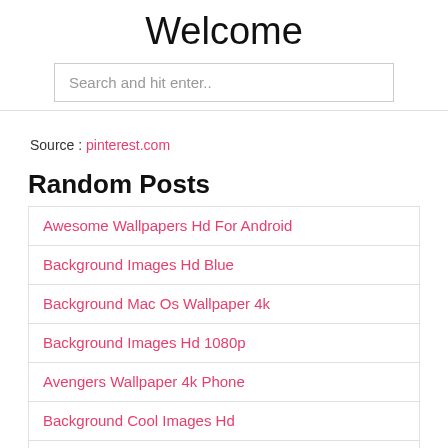Welcome
Search and hit enter..
Source : pinterest.com
Random Posts
Awesome Wallpapers Hd For Android
Background Images Hd Blue
Background Mac Os Wallpaper 4k
Background Images Hd 1080p
Avengers Wallpaper 4k Phone
Background Cool Images Hd
Awesome Wallpapers Hd For What...